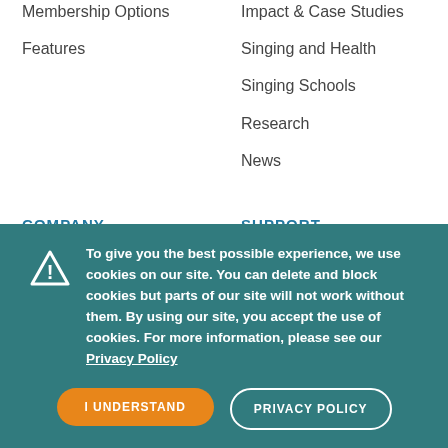Membership Options
Impact & Case Studies
Features
Singing and Health
Singing Schools
Research
News
COMPANY
SUPPORT
About Us
FAQs
To give you the best possible experience, we use cookies on our site. You can delete and block cookies but parts of our site will not work without them. By using our site, you accept the use of cookies. For more information, please see our Privacy Policy
I UNDERSTAND
PRIVACY POLICY